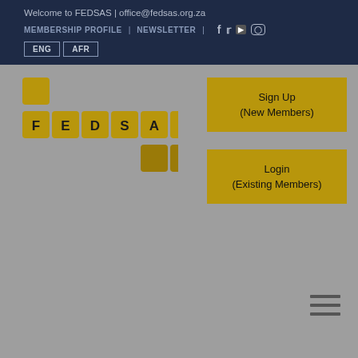Welcome to FEDSAS | office@fedsas.org.za
MEMBERSHIP PROFILE | NEWSLETTER | f (Facebook) (Twitter) (YouTube) (Instagram)
ENG  AFR
[Figure (logo): FEDSAS logo made of scrabble-style gold letter tiles spelling FEDSAS with two additional gold tiles]
Sign Up (New Members)
Login (Existing Members)
[Figure (other): Hamburger menu icon with three horizontal lines]